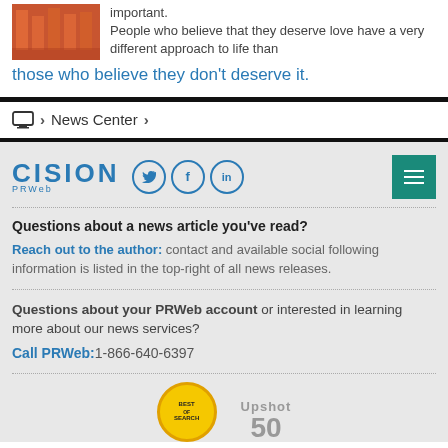important. People who believe that they deserve love have a very different approach to life than those who believe they don't deserve it.
> News Center >
Questions about a news article you've read?
Reach out to the author: contact and available social following information is listed in the top-right of all news releases.
Questions about your PRWeb account or interested in learning more about our news services?
Call PRWeb:1-866-640-6397